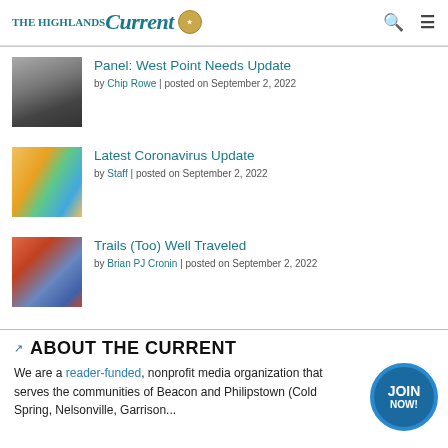The Highlands Current
[Figure (photo): Black and white photo thumbnail for West Point article]
Panel: West Point Needs Update
by Chip Rowe | posted on September 2, 2022
[Figure (photo): Color photo of arm with bandages/vaccine strips for Coronavirus article]
Latest Coronavirus Update
by Staff | posted on September 2, 2022
[Figure (photo): Color photo of crowd outdoors for Trails article]
Trails (Too) Well Traveled
by Brian PJ Cronin | posted on September 2, 2022
ABOUT THE CURRENT
We are a reader-funded, nonprofit media organization that serves the communities of Beacon and Philipstown (Cold Spring, Nelsonville, Garrison...